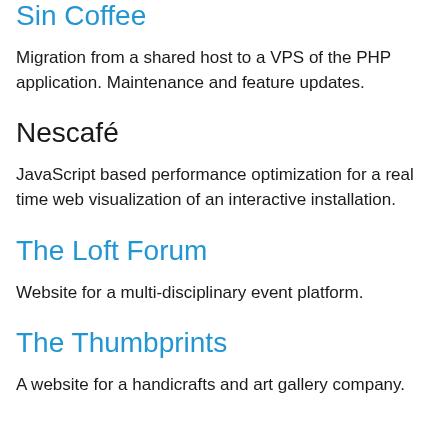Sin Coffee
Migration from a shared host to a VPS of the PHP application. Maintenance and feature updates.
Nescafé
JavaScript based performance optimization for a real time web visualization of an interactive installation.
The Loft Forum
Website for a multi-disciplinary event platform.
The Thumbprints
A website for a handicrafts and art gallery company.